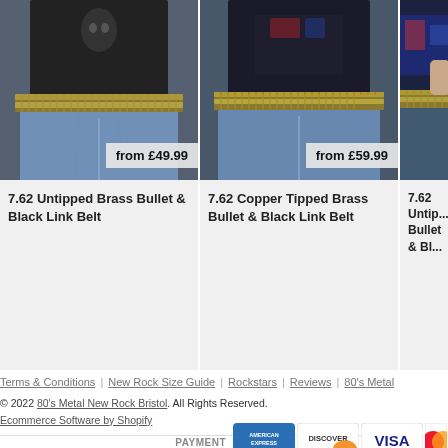[Figure (photo): Person wearing bullet belt with brass cartridges over jeans and dark t-shirt, price badge 'from £49.99']
7.62 Untipped Brass Bullet & Black Link Belt
[Figure (photo): Person wearing copper tipped bullet belt with brass cartridges over jeans and dark t-shirt, price badge 'from £59.99']
7.62 Copper Tipped Brass Bullet & Black Link Belt
[Figure (photo): Partial view of person wearing bullet belt, cropped on right edge]
7.62 Untip... Bullet & Bl...
Terms & Conditions | New Rock Size Guide | Rockstars | Reviews | 80's Metal
© 2022 80's Metal New Rock Bristol. All Rights Reserved. Ecommerce Software by Shopify
[Figure (other): Payment method logos: American Express, Discover, Visa, and one more (partially visible)]